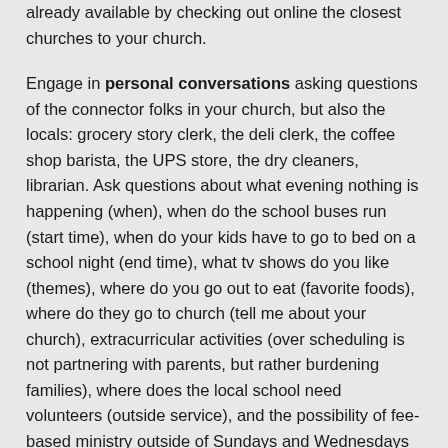already available by checking out online the closest churches to your church.
Engage in personal conversations asking questions of the connector folks in your church, but also the locals: grocery story clerk, the deli clerk, the coffee shop barista, the UPS store, the dry cleaners, librarian. Ask questions about what evening nothing is happening (when), when do the school buses run (start time), when do your kids have to go to bed on a school night (end time), what tv shows do you like (themes), where do you go out to eat (favorite foods), where do they go to church (tell me about your church), extracurricular activities (over scheduling is not partnering with parents, but rather burdening families), where does the local school need volunteers (outside service), and the possibility of fee-based ministry outside of Sundays and Wednesdays (recreation, fine arts, music, tutoring, relationship-building).